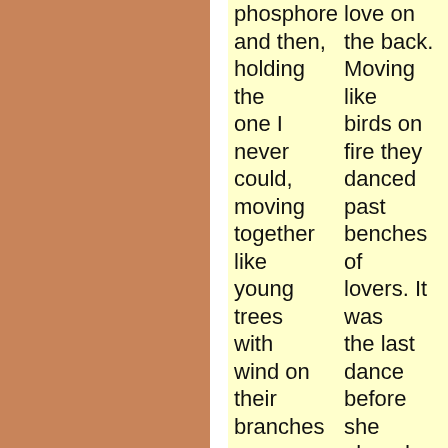phosphorescence and then, holding the one I never could, moving together like young trees with wind on their branches
love on the back. Moving like birds on fire they danced past benches of lovers. It was the last dance before she eloped. Words were turned to weapons. When she was, she was more there than ever, would always be beautiful with only pearls and jasmine